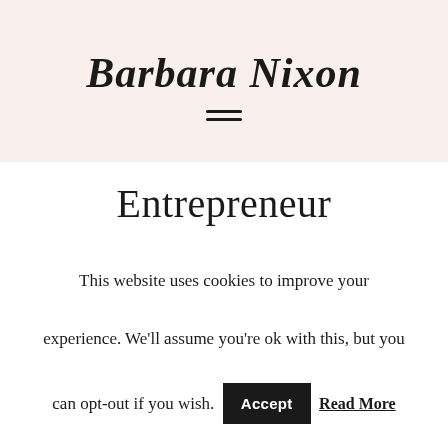Barbara Nixon
Entrepreneur
BLOG
5 Signs you're blocking your own success
This website uses cookies to improve your experience. We'll assume you're ok with this, but you can opt-out if you wish. Accept Read More